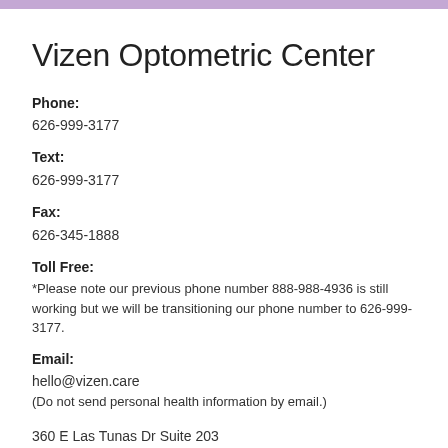Vizen Optometric Center
Phone:
626-999-3177
Text:
626-999-3177
Fax:
626-345-1888
Toll Free:
*Please note our previous phone number 888-988-4936 is still working but we will be transitioning our phone number to 626-999-3177.
Email:
hello@vizen.care
(Do not send personal health information by email.)
360 E Las Tunas Dr Suite 203